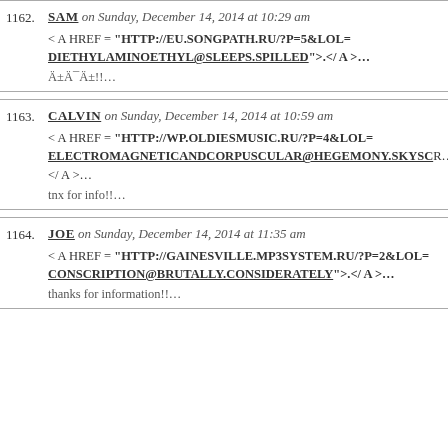1162. SAM on Sunday, December 14, 2014 at 10:29 am
< A HREF = “HTTP://EU.SONGPATH.RU/?P=5&LOL=DIETHYLAMINOETHYL@SLEEPS.SPILLED”>.</ A >…
Ä±Ä¯Ä±!!…
1163. CALVIN on Sunday, December 14, 2014 at 10:59 am
< A HREF = “HTTP://WP.OLDIESMUSIC.RU/?P=4&LOL=ELECTROMAGNETICANDCORPUSCULAR@HEGEMONY.SKYSC…”>< / A >…
tnx for info!!…
1164. JOE on Sunday, December 14, 2014 at 11:35 am
< A HREF = “HTTP://GAINESVILLE.MP3SYSTEM.RU/?P=2&LOL=CONSCRIPTION@BRUTALLY.CONSIDERATELY”>.</ A >…
thanks for information!!…